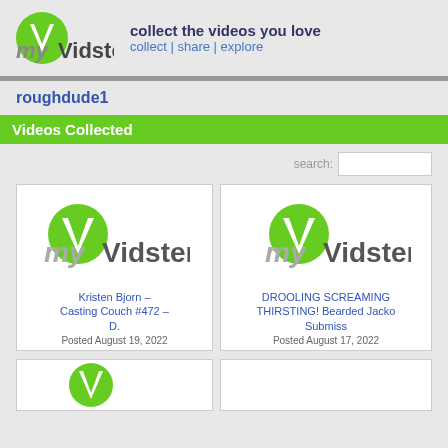[Figure (logo): myVidster logo with green V icon and site name]
collect the videos you love
collect | share | explore
roughdude1
Videos Collected
search:
[Figure (logo): myVidster placeholder thumbnail logo]
Kristen Bjorn – Casting Couch #472 – D.
Posted August 19, 2022
[Figure (logo): myVidster placeholder thumbnail logo (partially visible)]
DROOLING SCREAMING THIRSTING! Bearded Jacko Submiss
Posted August 17, 2022
[Figure (logo): myVidster placeholder thumbnail logo (bottom left, partially visible)]
[Figure (logo): myVidster placeholder thumbnail logo (bottom right, partially visible)]